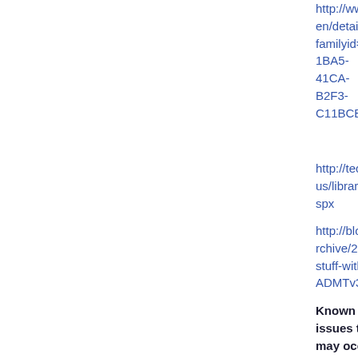http://www.microsoft.com/downloads/en/details. familyid=6D710919-1BA5-41CA-B2F3-C11BCB4857AF&displaylang=en
http://technet.microsoft.com/en-us/library/cc974332%28WS.10%29.aspx
http://blogs.dirteam.com/blogs/jorge/archive/200 stuff-with-ADMTv3.aspx
Known issues that may occur when you use ADMT 3.1 to migrate to a domain that contains Windows Server